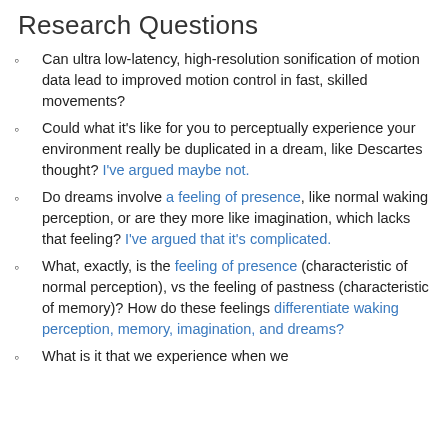Research Questions
Can ultra low-latency, high-resolution sonification of motion data lead to improved motion control in fast, skilled movements?
Could what it's like for you to perceptually experience your environment really be duplicated in a dream, like Descartes thought? I've argued maybe not.
Do dreams involve a feeling of presence, like normal waking perception, or are they more like imagination, which lacks that feeling? I've argued that it's complicated.
What, exactly, is the feeling of presence (characteristic of normal perception), vs the feeling of pastness (characteristic of memory)? How do these feelings differentiate waking perception, memory, imagination, and dreams?
What is it that we experience when we